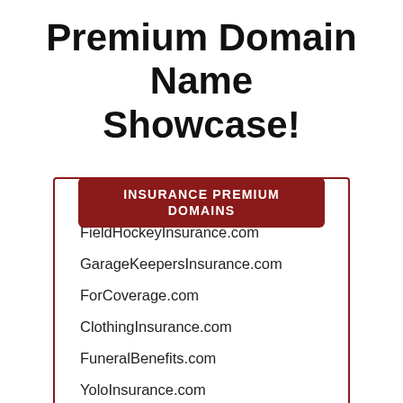Premium Domain Name Showcase!
INSURANCE PREMIUM DOMAINS
FieldHockeyInsurance.com
GarageKeepersInsurance.com
ForCoverage.com
ClothingInsurance.com
FuneralBenefits.com
YoloInsurance.com